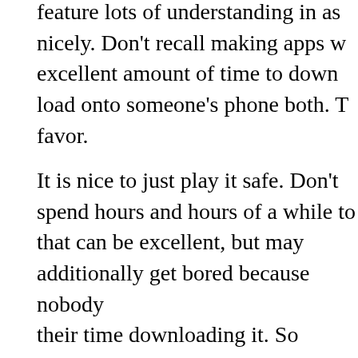feature lots of understanding in as nicely. Don't recall making apps with excellent amount of time to down load onto someone's phone both. T favor.
It is nice to just play it safe. Don't spend hours and hours of a while to that can be excellent, but may additionally get bored because nobody their time downloading it. So maintain it short, candy and simple. Som easy, are simply one web page and don't price plenty. So keep it that some thing that is distinct but simple.
After you have got provide you with your first-rate idea you will have t actual. So you may need on the way to sit down and put your concep draft of it a protracted with sketches. You can even want to include all with the intention to work and make experience. Your concept can no plenty detail as possible.
The common man or woman with a super idea is not continually the p notch concept come to life. That method, greater than possibly you m take your app idea and flip it into a fact for you. So your satisfactory w to be inclined to take on the job at a nominal rate. You don't want som amount of the money you make, just someone that loose lances for a who needs that your proportion your future earnings with them. You s humans's ideas into realities with their abilties to write the script or pr
Once you have your app written this indicates you are now ready to g